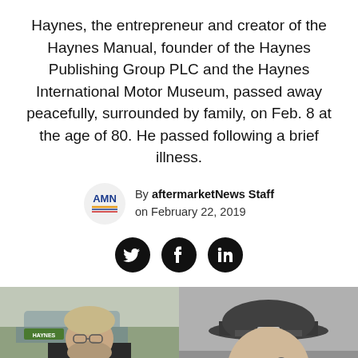Haynes, the entrepreneur and creator of the Haynes Manual, founder of the Haynes Publishing Group PLC and the Haynes International Motor Museum, passed away peacefully, surrounded by family, on Feb. 8 at the age of 80. He passed following a brief illness.
By aftermarketNews Staff on February 22, 2019
[Figure (photo): Two photos side by side: left is a color photo of an older man with a beard holding an MGB Haynes manual, wearing a dark jacket; right is a black-and-white photo of a young man wearing a military-style cap.]